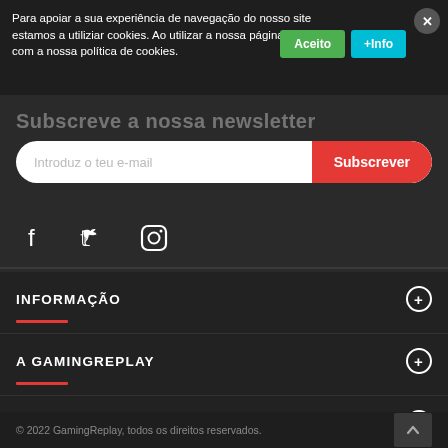Para apoiar a sua experiência de navegação do nosso site estamos a utiliziar cookies. Ao utilizar a nossa página, concorda com a nossa política de cookies.
Aceito
+Info
Subscreve a nossa newsletter
Introduz o teu e-mail
Subscrever
[Figure (illustration): Facebook, Twitter, Instagram social media icons in white on dark background]
INFORMAÇÃO
A GAMINGREPLAY
HORÁRIOS
© 2022 GamingReplay, todos os direitos reservados.